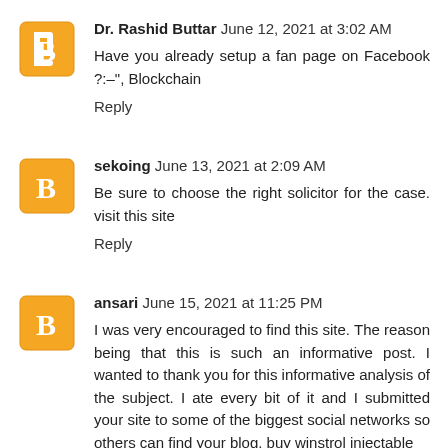Dr. Rashid Buttar  June 12, 2021 at 3:02 AM
Have you already setup a fan page on Facebook ?:–", Blockchain
Reply
sekoing  June 13, 2021 at 2:09 AM
Be sure to choose the right solicitor for the case. visit this site
Reply
ansari  June 15, 2021 at 11:25 PM
I was very encouraged to find this site. The reason being that this is such an informative post. I wanted to thank you for this informative analysis of the subject. I ate every bit of it and I submitted your site to some of the biggest social networks so others can find your blog. buy winstrol injectable